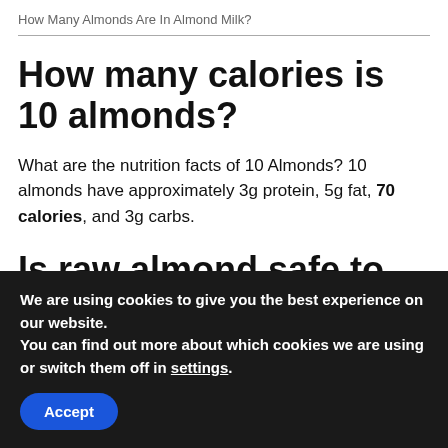How Many Almonds Are In Almond Milk?
How many calories is 10 almonds?
What are the nutrition facts of 10 Almonds? 10 almonds have approximately 3g protein, 5g fat, 70 calories, and 3g carbs.
Is raw almond safe to eat?
We are using cookies to give you the best experience on our website.
You can find out more about which cookies we are using or switch them off in settings.
Accept